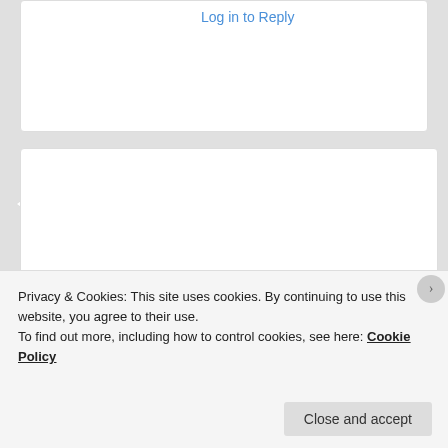Log in to Reply
[Figure (photo): Profile photo of a smiling woman wearing a hat and glasses outdoors.]
Untipsyteacher on April 30, 2020 at 10:03 am said:
I'm so sorry, I suffered most of my life with depression, at times severe.
I do take an anti depressant which helps. I found that exercise, talk therapy helped so much.
It's very hard, and I hope you can find some relief.
Privacy & Cookies: This site uses cookies. By continuing to use this website, you agree to their use.
To find out more, including how to control cookies, see here: Cookie Policy
Close and accept